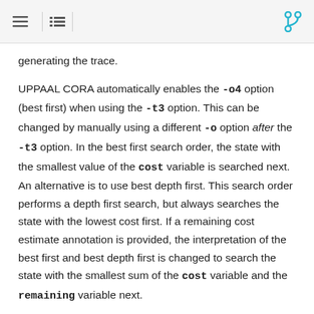[navigation icons]
generating the trace.
UPPAAL CORA automatically enables the -o4 option (best first) when using the -t3 option. This can be changed by manually using a different -o option after the -t3 option. In the best first search order, the state with the smallest value of the cost variable is searched next. An alternative is to use best depth first. This search order performs a depth first search, but always searches the state with the lowest cost first. If a remaining cost estimate annotation is provided, the interpretation of the best first and best depth first is changed to search the state with the smallest sum of the cost variable and the remaining variable next.